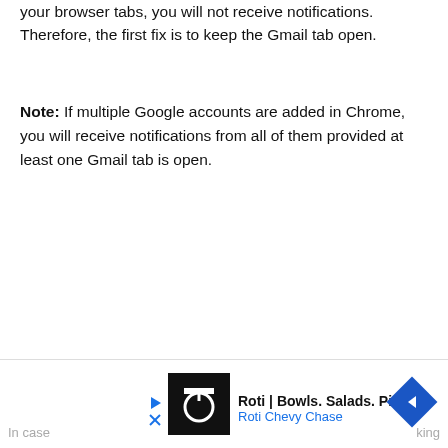your browser tabs, you will not receive notifications. Therefore, the first fix is to keep the Gmail tab open.
Note: If multiple Google accounts are added in Chrome, you will receive notifications from all of them provided at least one Gmail tab is open.
[Figure (screenshot): Advertisement banner for Roti | Bowls. Salads. Pitas. - Roti Chevy Chase, with logo, play/close buttons, and navigation arrow]
In case ... king